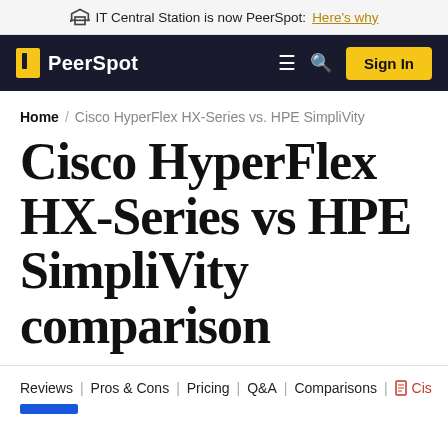IT Central Station is now PeerSpot: Here's why
[Figure (logo): PeerSpot navigation bar with logo, hamburger menu, search icon, and Sign In button]
Home / Cisco HyperFlex HX-Series vs. HPE SimpliVity
Cisco HyperFlex HX-Series vs HPE SimpliVity comparison
Reviews | Pros & Cons | Pricing | Q&A | Comparisons | Cis